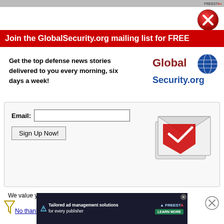[Figure (illustration): Red circle X close button in upper right]
Join the GlobalSecurity.org mailing list for FREE
Get the top defense news stories delivered to you every morning, six days a week!
[Figure (logo): GlobalSecurity.org logo with globe graphic]
Email:  [input field]  Sign Up Now! [button]
[Figure (illustration): Email envelope illustration with red arrow]
We value your privacy. We will not rent or sell your email address.
No thanks, take me to GlobalSecurity.org
[Figure (screenshot): Bottom ad bar: Tailored ad management solutions for every publisher — FREESTA, LEARN MORE]